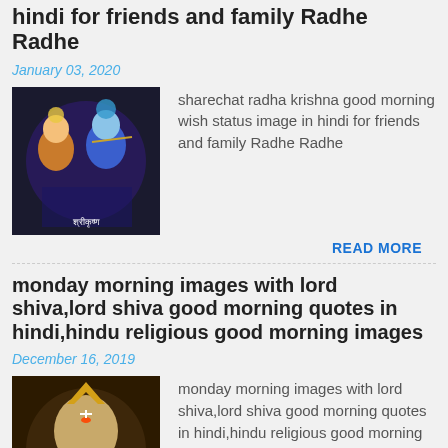hindi for friends and family Radhe Radhe
January 03, 2020
[Figure (photo): Radha Krishna image - colorful illustration of Radha and Krishna]
sharechat radha krishna good morning wish status image in hindi for friends and family Radhe Radhe
READ MORE
monday morning images with lord shiva,lord shiva good morning quotes in hindi,hindu religious good morning images
December 16, 2019
[Figure (photo): Lord Shiva image - illustrated portrait of Lord Shiva with text overlay]
monday morning images with lord shiva,lord shiva good morning quotes in hindi,hindu religious good morning images tag:- good ...